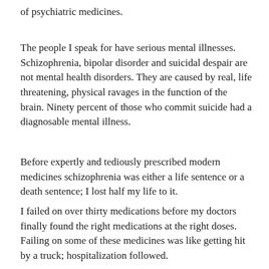of psychiatric medicines.
The people I speak for have serious mental illnesses. Schizophrenia, bipolar disorder and suicidal despair are not mental health disorders. They are caused by real, life threatening, physical ravages in the function of the brain. Ninety percent of those who commit suicide had a diagnosable mental illness.
Before expertly and tediously prescribed modern medicines schizophrenia was either a life sentence or a death sentence; I lost half my life to it.
I failed on over thirty medications before my doctors finally found the right medications at the right doses. Failing on some of these medicines was like getting hit by a truck; hospitalization followed.